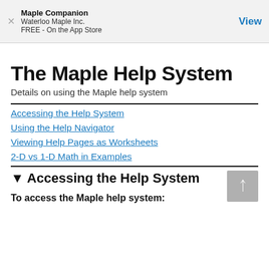Maple Companion
Waterloo Maple Inc.
FREE - On the App Store
View
The Maple Help System
Details on using the Maple help system
Accessing the Help System
Using the Help Navigator
Viewing Help Pages as Worksheets
2-D vs 1-D Math in Examples
▼ Accessing the Help System
To access the Maple help system: